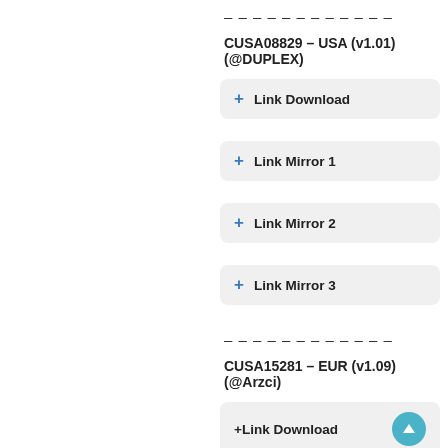————————————
CUSA08829 – USA (v1.01)(@DUPLEX)
+ Link Download
+ Link Mirror 1
+ Link Mirror 2
+ Link Mirror 3
————————————
CUSA15281 – EUR (v1.09)(@Arzci)
+ Link Download
BACK TO TOP
+ Link Mirror